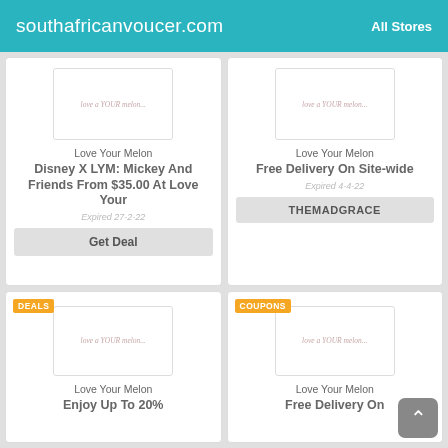southafricanvoucer.com | All Stores
[Figure (other): Placeholder product image with italic text 'love your melon']
Love Your Melon
Disney X LYM: Mickey And Friends From $35.00 At Love Your
Expired 27-2-22
Get Deal
[Figure (other): Placeholder product image with italic text 'love your melon']
Love Your Melon
Free Delivery On Site-wide
Expired 4-4-22
THEMADGRACE
[Figure (other): Placeholder product image with italic text 'love your melon']
Love Your Melon
Enjoy Up To 20%
[Figure (other): Placeholder product image with italic text 'love your melon']
Love Your Melon
Free Delivery On